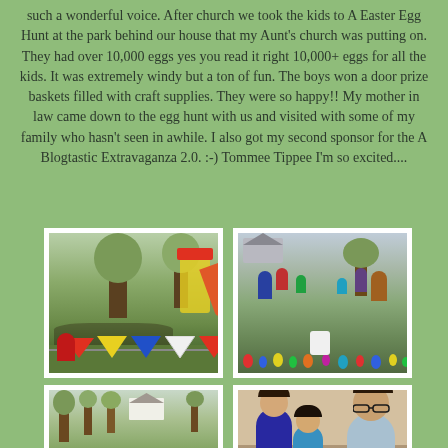such a wonderful voice. After church we took the kids to A Easter Egg Hunt at the park behind our house that my Aunt's church was putting on. They had over 10,000 eggs yes you read it right 10,000+ eggs for all the kids. It was extremely windy but a ton of fun. The boys won a door prize baskets filled with craft supplies. They were so happy!! My mother in law came down to the egg hunt with us and visited with some of my family who hasn't seen in awhile. I also got my second sponsor for the A Blogtastic Extravaganza 2.0. :-) Tommee Tippee I'm so excited....
[Figure (photo): Children and families at an Easter egg hunt in a park with playground equipment visible in the background, colorful bunting flags in foreground]
[Figure (photo): People including adults and children searching for Easter eggs on a grassy field with many colorful eggs scattered on the ground]
[Figure (photo): Wide shot of a park field with Easter egg hunt setup, trees and houses visible in background]
[Figure (photo): Family photo showing a woman with glasses and two young boys]